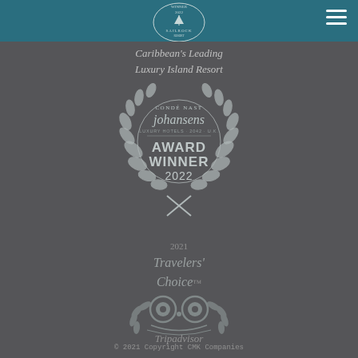SAILROCK — Caribbean's Leading Luxury Island Resort (Winner badge)
[Figure (logo): Condé Nast Johansens Award Winner 2022 circular laurel wreath badge in white/grey on dark background]
2021 Travelers' Choice
[Figure (logo): TripAdvisor 2021 Travelers' Choice circular owl-eye logo with laurel wings in grey on dark background]
Tripadvisor
© 2021 Copyright CMK Companies